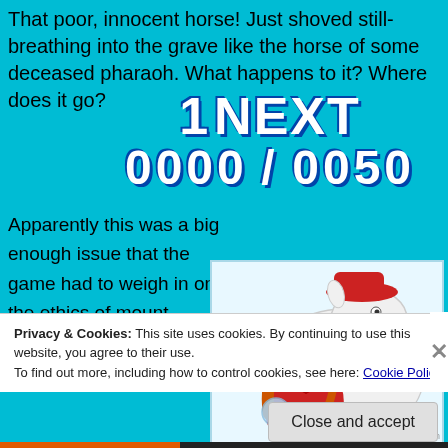That poor, innocent horse! Just shoved still-breathing into the grave like the horse of some deceased pharaoh. What happens to it? Where does it go?
[Figure (screenshot): Overlay graphic showing '1 NEXT' and counter '0000/0050' in large bold white letters with blue outline on cyan background]
Apparently this was a big enough issue that the game had to weigh in on the ethics of mount loyalty. At the very end after felling the
[Figure (illustration): Cartoon illustration of a white horse wearing a red hat with a red-haired girl in a red outfit, classic animated style]
Privacy & Cookies: This site uses cookies. By continuing to use this website, you agree to their use.
To find out more, including how to control cookies, see here: Cookie Policy
Close and accept